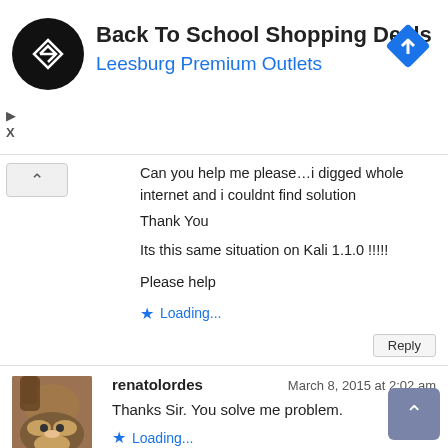[Figure (screenshot): Ad banner for Back To School Shopping Deals at Leesburg Premium Outlets with a black circular logo with arrow symbol and a blue diamond navigation icon]
Can you help me please…i digged whole internet and i couldnt find solution
Thank You

Its this same situation on Kali 1.1.0 !!!!!
Please help
★ Loading...
Reply
renatolordes
March 8, 2015 at 2:02 am
Thanks Sir. You solve me problem.
★ Loading...
Reply
Delta-Kiloz
March 16, 2015 at 4:51
I'm wondering if a recent update broke some of the